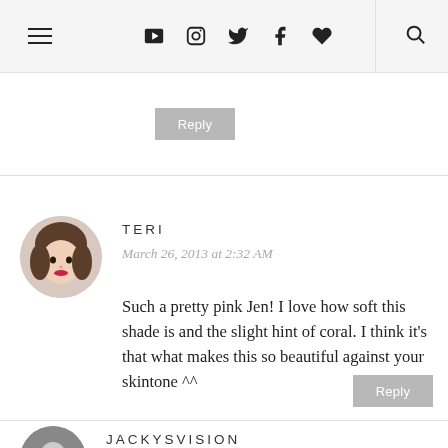Navigation bar with hamburger menu, social icons (YouTube, Instagram, Twitter, Facebook, heart), and search icon
Reply
TERI
March 26, 2013 at 2:32 AM

Such a pretty pink Jen! I love how soft this shade is and the slight hint of coral. I think it's that what makes this so beautiful against your skintone ^^
Reply
JACKYSVISION